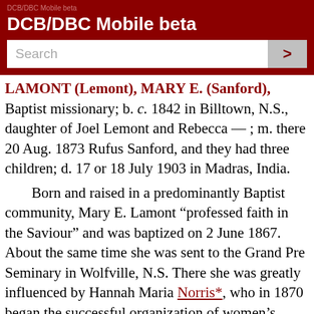DCB/DBC Mobile beta
LAMONT (Lemont), MARY E. (Sanford), Baptist missionary; b. c. 1842 in Billtown, N.S., daughter of Joel Lemont and Rebecca — ; m. there 20 Aug. 1873 Rufus Sanford, and they had three children; d. 17 or 18 July 1903 in Madras, India.
Born and raised in a predominantly Baptist community, Mary E. Lamont “professed faith in the Saviour” and was baptized on 2 June 1867. About the same time she was sent to the Grand Pre Seminary in Wolfville, N.S. There she was greatly influenced by Hannah Maria Norris*, who in 1870 began the successful organization of women’s missionary societies in the Baptist churches of the Maritimes. It was probably at Wolfville that Lamont met Rufus Sanford, a former student at Acadia College and then a teacher at Horton Academy, who had already decided on a career in the field of foreign missions. On the afternoon of